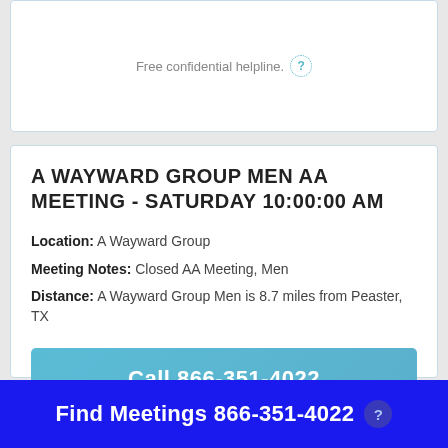Free confidential helpline.
A WAYWARD GROUP MEN AA MEETING - SATURDAY 10:00:00 AM
Location: A Wayward Group
Meeting Notes: Closed AA Meeting, Men
Distance: A Wayward Group Men is 8.7 miles from Peaster, TX
Call 866-351-4022
Free confidential helpline.
Find Meetings 866-351-4022